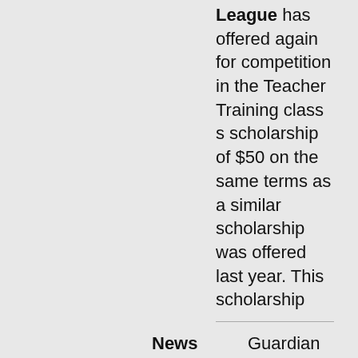League has offered again for competition in the Teacher Training class s scholarship of $50 on the same terms as a similar scholarship was offered last year. This scholarship
| Field | Value |
| --- | --- |
| Newspaper | Guardian of the Gulf |
| Title | Page 14 |
| Date | Saturday May 1, 1948 |